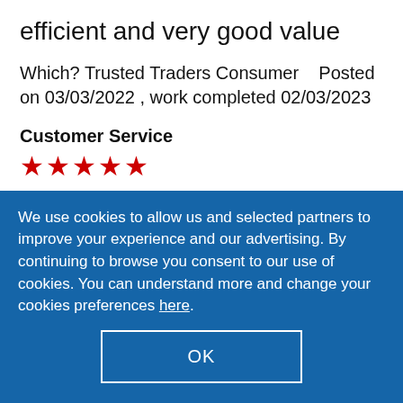efficient and very good value
Which? Trusted Traders Consumer    Posted on 03/03/2022 , work completed 02/03/2023
Customer Service
[Figure (other): 5 red star rating icons for Customer Service]
Quality
[Figure (other): 5 red star rating icons for Quality]
Value
We use cookies to allow us and selected partners to improve your experience and our advertising. By continuing to browse you consent to our use of cookies. You can understand more and change your cookies preferences here.
OK